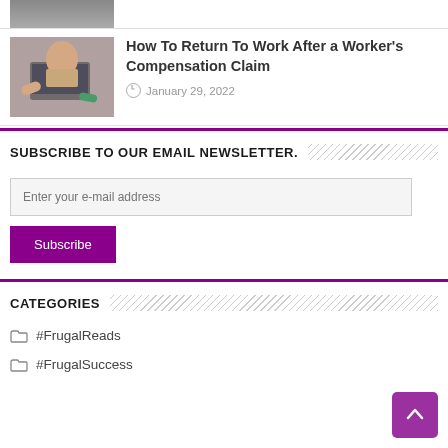[Figure (photo): Partial view of a person at the top of the page (cropped)]
[Figure (photo): Person viewed from above working at a laptop, holding head with hands]
How To Return To Work After a Worker's Compensation Claim
January 29, 2022
SUBSCRIBE TO OUR EMAIL NEWSLETTER.
Enter your e-mail address
Subscribe
CATEGORIES
#FrugalReads
#FrugalSuccess